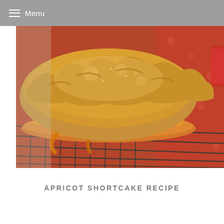Menu
[Figure (photo): Close-up photo of an apricot shortcake sitting on a wire cooling rack. The shortcake appears golden-brown and rustic, with visible apricot filling oozing from the sides. The background shows a red floral patterned surface and a partial view of a red ceramic mug.]
APRICOT SHORTCAKE RECIPE